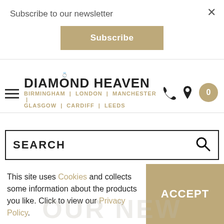Subscribe to our newsletter
[Figure (other): Subscribe button (tan/gold colored button with white bold text 'Subscribe')]
[Figure (logo): Diamond Heaven logo with diamond ring icon above the O, and city locations listed: BIRMINGHAM | LONDON | MANCHESTER | GLASGOW | CARDIFF | LEEDS]
[Figure (other): Search bar with SEARCH placeholder text and magnifying glass icon]
This site uses Cookies and collects some information about the products you like. Click to view our Privacy Policy.
[Figure (other): ACCEPT button in tan/gold color]